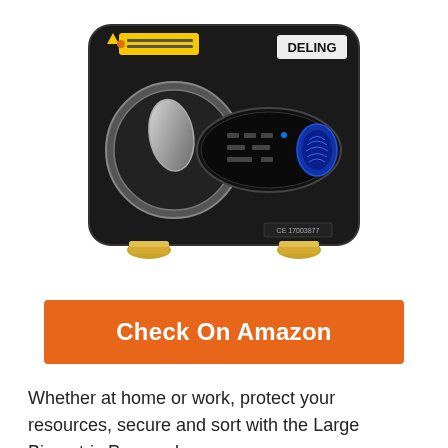[Figure (photo): A black DELING biometric home safe with a circular dial/handle on the left, electronic keypad in the center, and a blue fingerprint reader on the right. The safe has gold-colored feet at the bottom and a yellow warning sticker at the top left. The DELING brand name is displayed in the upper right of the safe front.]
Check On Amazon
Whether at home or work, protect your resources, secure and sort with the Large Biometric Personal